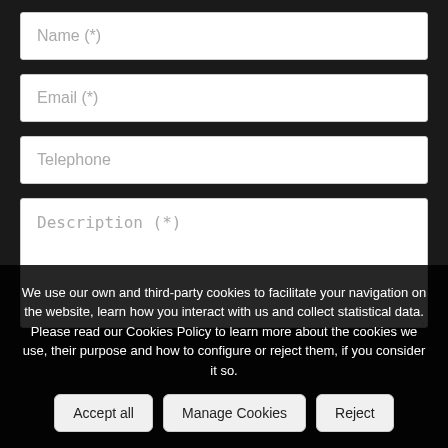Name (*)
Email (*)
Telephone
Description (*)
We use our own and third-party cookies to facilitate your navigation on the website, learn how you interact with us and collect statistical data. Please read our Cookies Policy to learn more about the cookies we use, their purpose and how to configure or reject them, if you consider it so.
Accept all
Manage Cookies
Reject